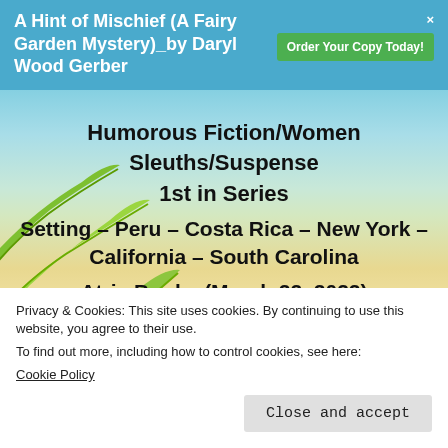A Hint of Mischief (A Fairy Garden Mystery)_by Daryl Wood Gerber | Order Your Copy Today!
Humorous Fiction/Women Sleuths/Suspense
1st in Series
Setting – Peru – Costa Rica – New York – California – South Carolina
Atria Books (March 22, 2022)
Hardcover : 320 pages
Privacy & Cookies: This site uses cookies. By continuing to use this website, you agree to their use.
To find out more, including how to control cookies, see here:
Cookie Policy
Close and accept